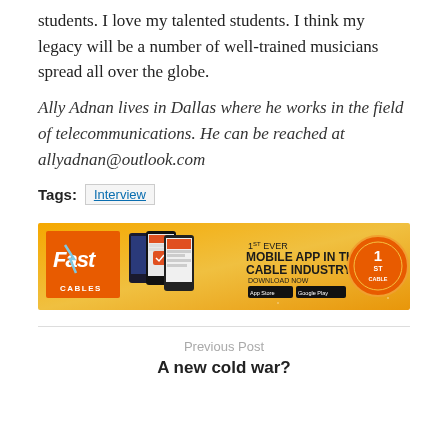students. I love my talented students. I think my legacy will be a number of well-trained musicians spread all over the globe.
Ally Adnan lives in Dallas where he works in the field of telecommunications. He can be reached at allyadnan@outlook.com
Tags: Interview
[Figure (advertisement): Fast Cables advertisement banner: 1st Ever Mobile App in the Cable Industry, Download Now, with App Store and Google Play buttons, and Fast Cables orange logo with lightning bolt.]
Previous Post
A new cold war?